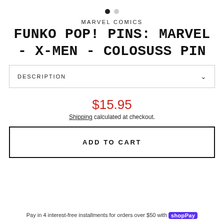[Figure (other): Two navigation dots indicator, first dot filled black (active), second dot gray (inactive)]
MARVEL COMICS
FUNKO POP! PINS: MARVEL - X-MEN - COLOSUSS PIN
DESCRIPTION
$15.95
Shipping calculated at checkout.
ADD TO CART
Pay in 4 interest-free installments for orders over $50 with Shop Pay